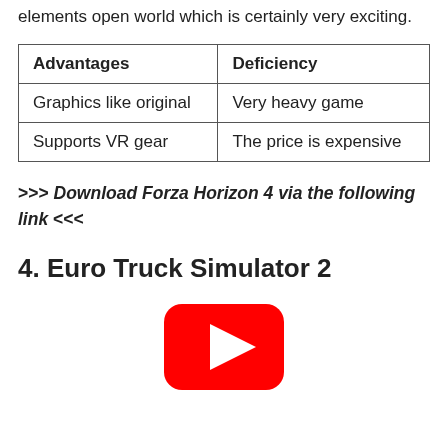elements open world which is certainly very exciting.
| Advantages | Deficiency |
| --- | --- |
| Graphics like original | Very heavy game |
| Supports VR gear | The price is expensive |
>>> Download Forza Horizon 4 via the following link <<<
4. Euro Truck Simulator 2
[Figure (other): YouTube play button logo (red rounded rectangle with white triangle play icon)]